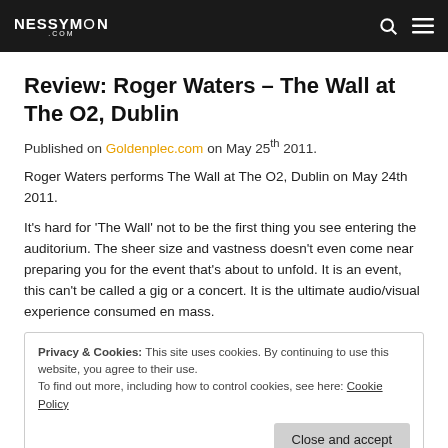NESSYMON .COM
Review: Roger Waters – The Wall at The O2, Dublin
Published on Goldenplec.com on May 25th 2011.
Roger Waters performs The Wall at The O2, Dublin on May 24th 2011.
It's hard for 'The Wall' not to be the first thing you see entering the auditorium. The sheer size and vastness doesn't even come near preparing you for the event that's about to unfold. It is an event, this can't be called a gig or a concert. It is the ultimate audio/visual experience consumed en mass.
Privacy & Cookies: This site uses cookies. By continuing to use this website, you agree to their use. To find out more, including how to control cookies, see here: Cookie Policy
The extravaganza opens with a muted introduction to Pink. Flag